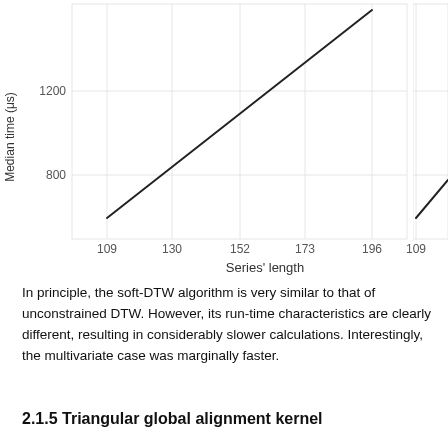[Figure (continuous-plot): Line chart showing Median time (μs) vs Series' length. Two panels visible (partially cropped). Left panel shows a single line rising from ~560μs at x=109 to ~1400μs at x=196. Y-axis ticks at 800 and 1200. X-axis ticks at 109, 130, 152, 173, 196. Right panel partially visible shows another line starting from ~560μs at x=109 rising steeply. X-axis label: Series' length. Y-axis label: Median time (μs).]
In principle, the soft-DTW algorithm is very similar to that of unconstrained DTW. However, its run-time characteristics are clearly different, resulting in considerably slower calculations. Interestingly, the multivariate case was marginally faster.
2.1.5 Triangular global alignment kernel